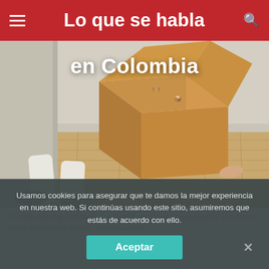Lo que se habla en Colombia
[Figure (photo): Person lying on wooden floor with a cardboard moving box covering their upper body, legs visible with brown shoes, room with white walls and baseboard]
en Colombia
Remote working and being to attend Zoom meet ur sweatpants. can move closer to family or friends, head to a nicer
Usamos cookies para asegurar que te damos la mejor experiencia en nuestra web. Si continúas usando este sitio, asumiremos que estás de acuerdo con ello.